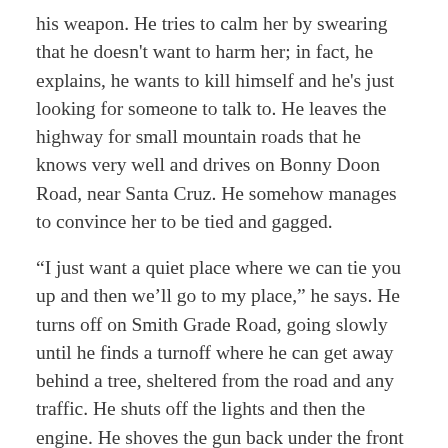his weapon. He tries to calm her by swearing that he doesn't want to harm her; in fact, he explains, he wants to kill himself and he's just looking for someone to talk to. He leaves the highway for small mountain roads that he knows very well and drives on Bonny Doon Road, near Santa Cruz. He somehow manages to convince her to be tied and gagged.
“I just want a quiet place where we can tie you up and then we’ll go to my place,” he says. He turns off on Smith Grade Road, going slowly until he finds a turnoff where he can get away behind a tree, sheltered from the road and any traffic. He shuts off the lights and then the engine. He shoves the gun back under the front seat.
“There’s a roll of medical tape in my glove compartment. Hand it to me,” he says. She complies, handing him the small cardboard box. His hands shake as he tries to find the end of the roll.